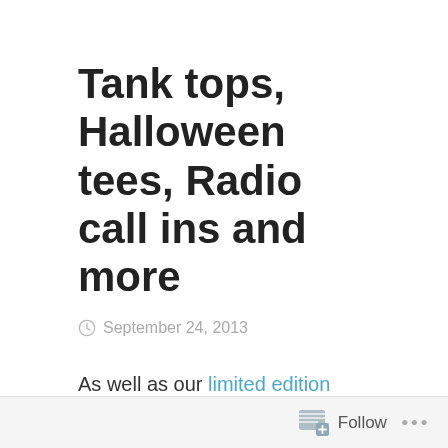Tank tops, Halloween tees, Radio call ins and more
September 24, 2013
As well as our limited edition Zombies, Run! Halloween T-shirt design, we've added a new piece of merchandise to our store. This new Zombies, Run! Sports Vest is available in either black or white and prominently displays the Zombies, Run! Season 2 logo
Follow